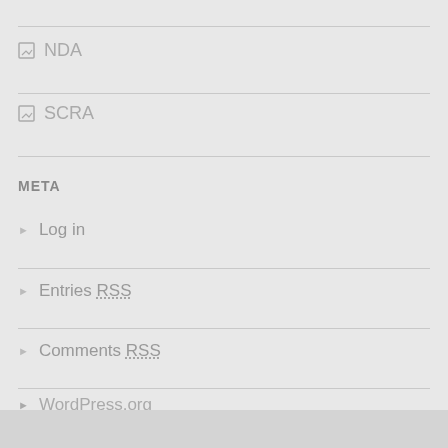NDA
SCRA
META
Log in
Entries RSS
Comments RSS
WordPress.org